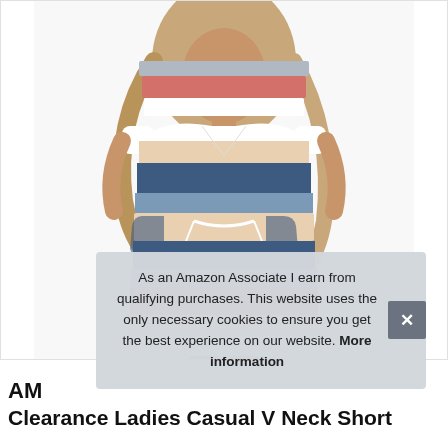[Figure (photo): A woman wearing a colorful horizontal-striped V-neck short sleeve casual dress with a drawstring waist and pockets. The dress features stripes of gray, pink/coral, white, beige, navy blue, light blue, pink/rose, beige, and white from top to bottom.]
As an Amazon Associate I earn from qualifying purchases. This website uses the only necessary cookies to ensure you get the best experience on our website. More information
AM... Clearance Ladies Casual V Neck Short